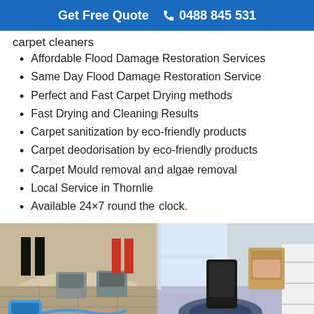Get Free Quote  📞 0488 845 531
carpet cleaners
Affordable Flood Damage Restoration Services
Same Day Flood Damage Restoration Service
Perfect and Fast Carpet Drying methods
Fast Drying and Cleaning Results
Carpet sanitization by eco-friendly products
Carpet deodorisation by eco-friendly products
Carpet Mould removal and algae removal
Local Service in Thornlie
Available 24×7 round the clock.
[Figure (photo): Two photos side by side: left shows carpet drying equipment and workers on a wet carpet; right shows water spillage on a carpet near a window with furniture.]